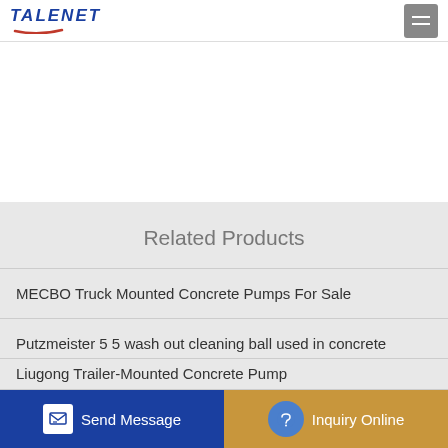TALENET
[Figure (photo): White/blank banner area below header]
Related Products
MECBO Truck Mounted Concrete Pumps For Sale
Putzmeister 5 5 wash out cleaning ball used in concrete pumps
mounted concrete truck pump
Liugong Trailer-Mounted Concrete Pump
Send Message | Inquiry Online